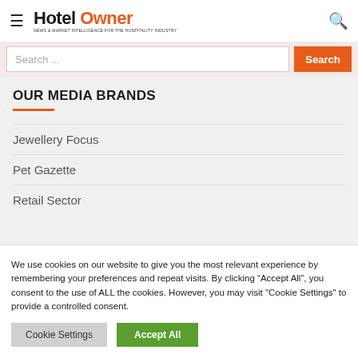Hotel Owner
Search ...
OUR MEDIA BRANDS
Jewellery Focus
Pet Gazette
Retail Sector
We use cookies on our website to give you the most relevant experience by remembering your preferences and repeat visits. By clicking “Accept All”, you consent to the use of ALL the cookies. However, you may visit "Cookie Settings" to provide a controlled consent.